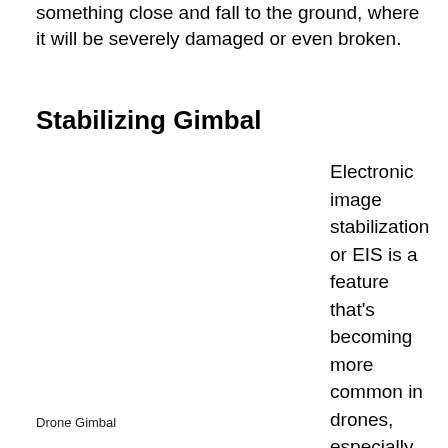something close and fall to the ground, where it will be severely damaged or even broken.
Stabilizing Gimbal
[Figure (photo): Photo of a drone gimbal (image area, blank/white in this view)]
Drone Gimbal
Electronic image stabilization or EIS is a feature that's becoming more common in drones, especially inexpensive